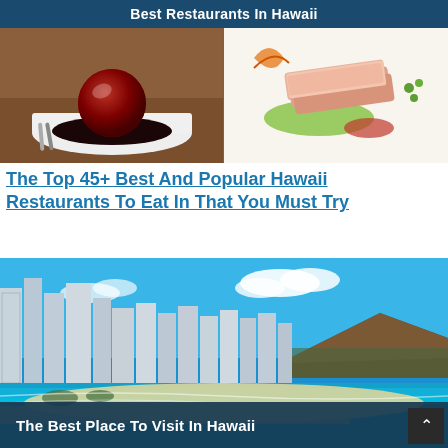Best Restaurants In Hawaii
[Figure (photo): Two food photos side by side: left shows a chocolate dessert with berry sauce on a white plate, right shows sliced pink meat with green sauce and vegetables on a white plate.]
The Top 45+ Best And Popular Hawaii Restaurants To Eat In That You Must Try
[Figure (photo): Aerial/wide-angle photo of Waikiki Beach, Honolulu, Hawaii showing turquoise ocean, sandy beach with crowds, tall hotel buildings, and Diamond Head crater in the background under a blue sky.]
The Best Place To Visit In Hawaii